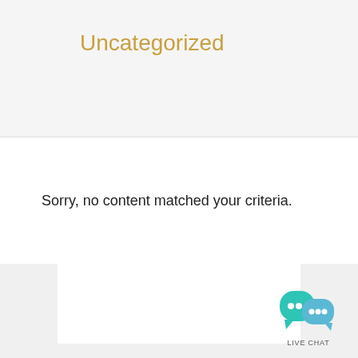Uncategorized
Sorry, no content matched your criteria.
NEWS & UPDATES
[Figure (other): Live chat widget with two overlapping speech bubbles (teal and blue) with dots, labeled LIVE CHAT]